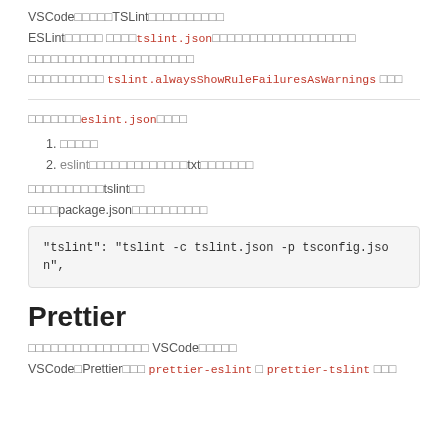VSCode□□□□□TSLint□□□□□□□□□□
ESLint□□□□□ □□□□tslint.json□□□□□□□□□□□□□□□□□□□
□□□□□□□□□□□□□□□□□□□□□□
□□□□□□□□□□ tslint.alwaysShowRuleFailuresAsWarnings □□□
□□□□□□□eslint.json□□□□
□□□□□
eslint□□□□□□□□□□□□□txt□□□□□□□
□□□□□□□□□□tslint□□
□□□□package.json□□□□□□□□□□
"tslint": "tslint -c tslint.json -p tsconfig.json",
Prettier
□□□□□□□□□□□□□□□□ VSCode□□□□□
VSCode□Prettier□□□ prettier-eslint □ prettier-tslint □□□